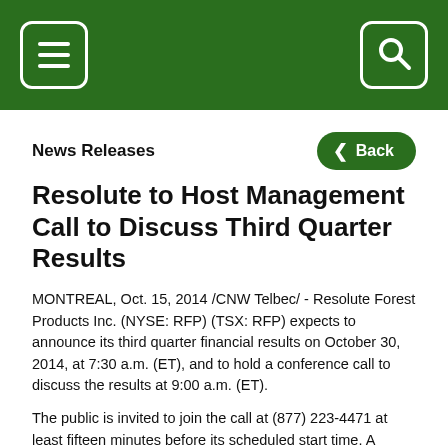[Navigation bar with menu and search icons]
News Releases
Resolute to Host Management Call to Discuss Third Quarter Results
MONTREAL, Oct. 15, 2014 /CNW Telbec/ - Resolute Forest Products Inc. (NYSE: RFP) (TSX: RFP) expects to announce its third quarter financial results on October 30, 2014, at 7:30 a.m. (ET), and to hold a conference call to discuss the results at 9:00 a.m. (ET).
The public is invited to join the call at (877) 223-4471 at least fifteen minutes before its scheduled start time. A simultaneous webcast will also be available using the link provided under "Presentations and Webcasts" in the "Investors" section of www.resolutefp.com. A replay of the webcast will be archived on the Company's website.
About Resolute Forest Products